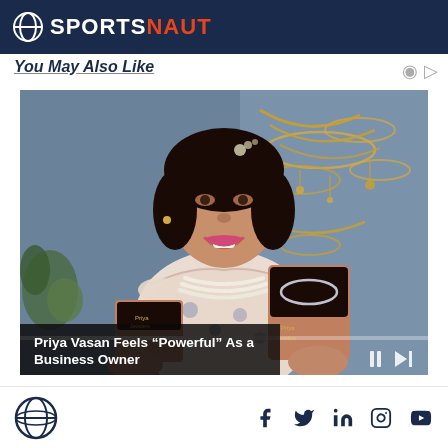SPORTSNAUT
You May Also Like
[Figure (photo): Woman smiling, wearing pearl necklace and floral dress, holding jewelry boxes with Priya Jewelers branding, gold jewelry display in background]
Priya Vasan Feels “Powerful” As a Business Owner
SPORTSNAUT social links: Facebook, Twitter, LinkedIn, Instagram, YouTube